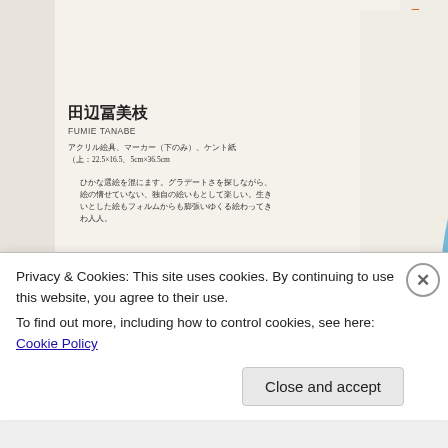[Figure (illustration): Scanned page from an art catalog or magazine showing Japanese artist profile for 田辺冨美枝 (Fumie Tanabe). The page shows drawings/artworks: a colorful bird-like figure in blue, green, and yellow on cream background (large, right side), and a smaller drawing of a face/vase-like figure in yellow and brown tones (lower left). A partially visible text area on the right edge shows stylized colorful text 'hoice.' in orange-green letters. Bottom right shows a partial view of another colorful striped artwork. Japanese text caption and artist info visible on left side.]
Privacy & Cookies: This site uses cookies. By continuing to use this website, you agree to their use.
To find out more, including how to control cookies, see here: Cookie Policy
Close and accept